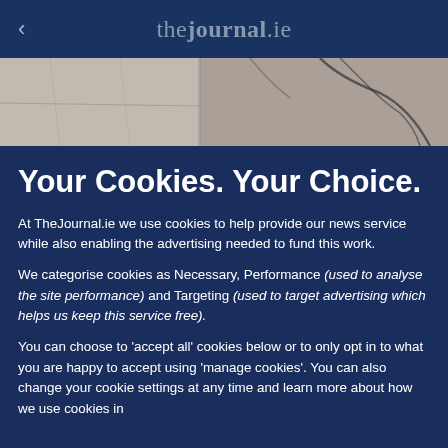thejournal.ie
[Figure (photo): Aerial or map-style grayscale background image with dark crack-like lines]
Your Cookies. Your Choice.
At TheJournal.ie we use cookies to help provide our news service while also enabling the advertising needed to fund this work.
We categorise cookies as Necessary, Performance (used to analyse the site performance) and Targeting (used to target advertising which helps us keep this service free).
You can choose to 'accept all' cookies below or to only opt in to what you are happy to accept using 'manage cookies'. You can also change your cookie settings at any time and learn more about how we use cookies in